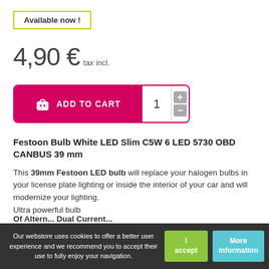Available now !
4,90 € tax incl.
[Figure (other): Add to Cart button with quantity selector showing 1, plus and minus buttons, on a magenta/pink background with shopping bag icon]
Festoon Bulb White LED Slim C5W 6 LED 5730 OBD CANBUS 39 mm
This 39mm Festoon LED bulb will replace your halogen bulbs in your license plate lighting or inside the interior of your car and will modernize your lighting.
Ultra powerful bulb
Our webstore uses cookies to offer a better user experience and we recommend you to accept their use to fully enjoy your navigation.
I accept
More information